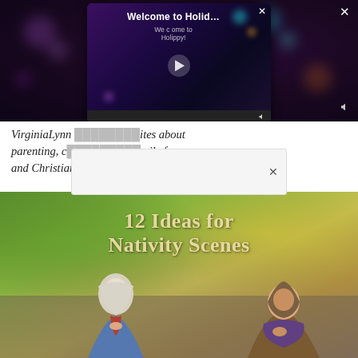[Figure (screenshot): Video popup overlay on a dark bokeh background showing 'Welcome to Holid...' with a play button, close X, and mute icon. A gray overlay box with an X is also partially covering the page text below.]
VirginiaLynn [obscured] ...ites about parenting, [...] ...mily fun, and Christian ministry ideas.
[Figure (photo): Photograph of nativity scene figurines (Mary and Joseph) against a blurred green, yellow, and brown bokeh background, with white text overlay reading '12 Ideas for Nativity Scenes']